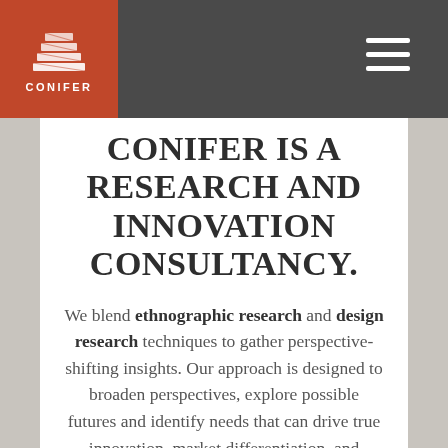CONIFER
CONIFER IS A RESEARCH AND INNOVATION CONSULTANCY.
We blend ethnographic research and design research techniques to gather perspective-shifting insights. Our approach is designed to broaden perspectives, explore possible futures and identify needs that can drive true innovation, market differentiation, and business growth through leading market research methods.